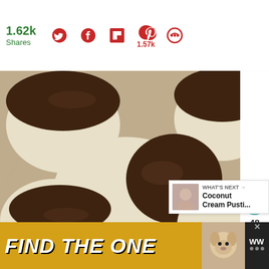1.62k Shares
[Figure (screenshot): Social sharing bar with Twitter, Facebook, Flipboard, Pinterest (1.57k), and other share icons in dark red/crimson color on white background]
[Figure (photo): Black and white frosted cookies or pastries on parchment paper, each half covered in chocolate frosting and half in white frosting, resembling black and white cookies]
48
WHAT'S NEXT → Coconut Cream Pusti...
FIND THE ONE